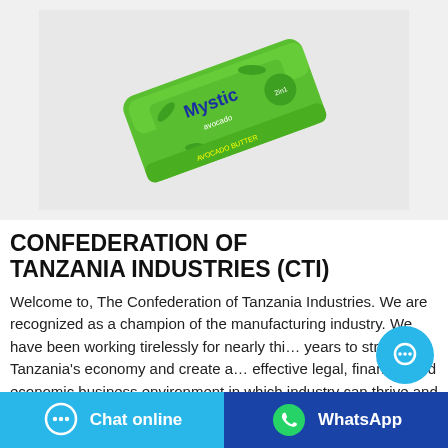[Figure (photo): A green Mystic branded soap/product bar in green packaging, shown at an angle on a light grey/white background.]
CONFEDERATION OF TANZANIA INDUSTRIES (CTI)
Welcome to, The Confederation of Tanzania Industries. We are recognized as a champion of the manufacturing industry. We have been working tirelessly for nearly thirty years to strengthen Tanzania's economy and create an effective legal, financial and economic business environment in which industry can thrive and contribute to Tanzania's growth and prosperity.